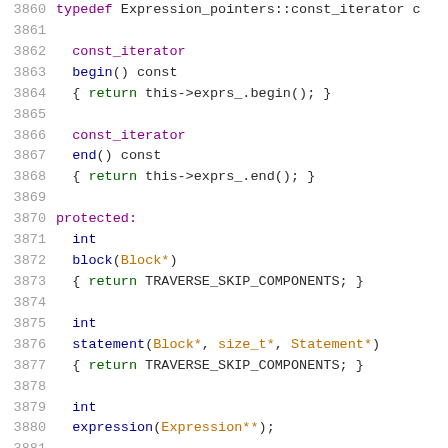[Figure (screenshot): Source code listing showing C++ class methods with line numbers 3860-3881. Methods include const_iterator begin() const, const_iterator end() const, protected int block(Block*), int statement(Block*, size_t*, Statement*), int expression(Expression**).]